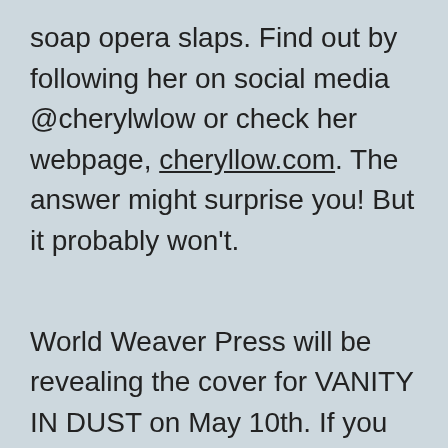soap opera slaps. Find out by following her on social media @cherylwlow or check her webpage, cheryllow.com. The answer might surprise you! But it probably won't.
World Weaver Press will be revealing the cover for VANITY IN DUST on May 10th. If you have a book-related blog, join their cover reveal team so you can see it before anyone else, and also have the chance to receive an